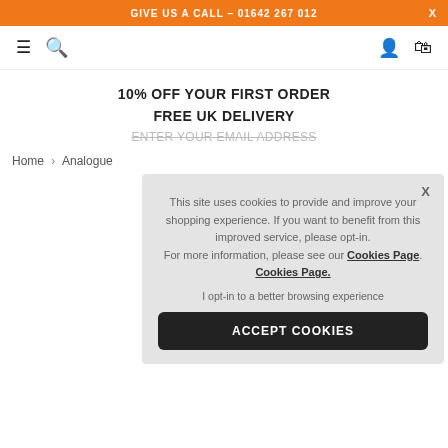GIVE US A CALL – 01642 267 012
[Figure (screenshot): Navigation bar with hamburger menu, search icon, user icon, and shopping bag icon]
10% OFF YOUR FIRST ORDER
FREE UK DELIVERY
Breadcrumb: Home > Analogue
This site uses cookies to provide and improve your shopping experience. If you want to benefit from this improved service, please opt-in. For more information, please see our Cookies Page. Cookies Page.
I opt-in to a better browsing experience
ACCEPT COOKIES